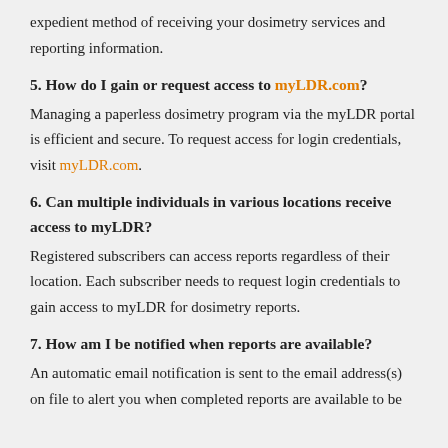expedient method of receiving your dosimetry services and reporting information.
5. How do I gain or request access to myLDR.com?
Managing a paperless dosimetry program via the myLDR portal is efficient and secure. To request access for login credentials, visit myLDR.com.
6. Can multiple individuals in various locations receive access to myLDR?
Registered subscribers can access reports regardless of their location. Each subscriber needs to request login credentials to gain access to myLDR for dosimetry reports.
7. How am I be notified when reports are available?
An automatic email notification is sent to the email address(s) on file to alert you when completed reports are available to be